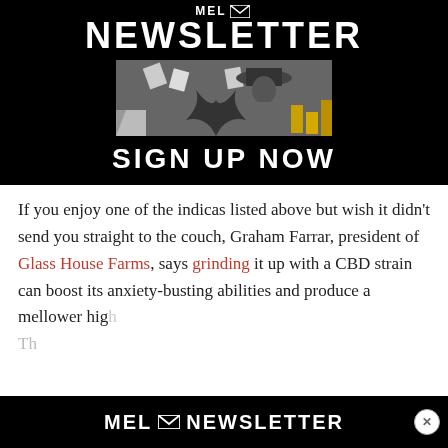[Figure (illustration): MEL Newsletter advertisement banner with black background showing 'NEWSLETTER' text, a black-and-white vintage photo of a cowboy with papers flying, and 'SIGN UP NOW' call to action]
If you enjoy one of the indicas listed above but wish it didn't send you straight to the couch, Graham Farrar, president of Glass House Farms, says grinding it up with a CBD strain can boost its anxiety-busting abilities and produce a mellower hig
[Figure (illustration): MEL Newsletter bottom advertisement banner with black background and close button]